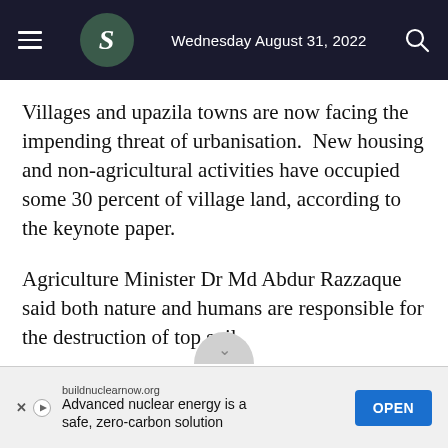Wednesday August 31, 2022
Villages and upazila towns are now facing the impending threat of urbanisation.  New housing and non-agricultural activities have occupied some 30 percent of village land, according to the keynote paper.
Agriculture Minister Dr Md Abdur Razzaque said both nature and humans are responsible for the destruction of top soil.
"If we cannot retain liveable land for our children,
[Figure (other): Advertisement banner: buildnuclearnow.org — Advanced nuclear energy is a safe, zero-carbon solution — with OPEN button]